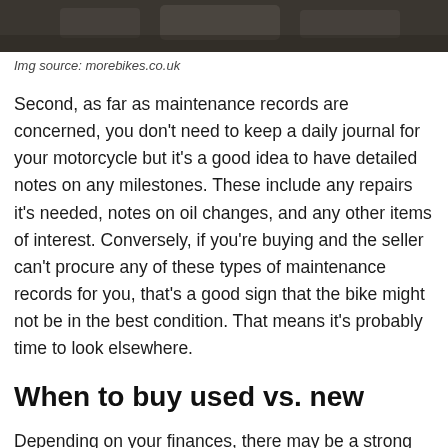[Figure (photo): Dark photo strip showing motorcycles on a wooden surface, cropped at top of page]
Img source: morebikes.co.uk
Second, as far as maintenance records are concerned, you don't need to keep a daily journal for your motorcycle but it's a good idea to have detailed notes on any milestones. These include any repairs it's needed, notes on oil changes, and any other items of interest. Conversely, if you're buying and the seller can't procure any of these types of maintenance records for you, that's a good sign that the bike might not be in the best condition. That means it's probably time to look elsewhere.
When to buy used vs. new
Depending on your finances, there may be a strong urge to buy new if you can afford it. It comes without a lot of the baggage used vehicles have and you get the satisfaction of